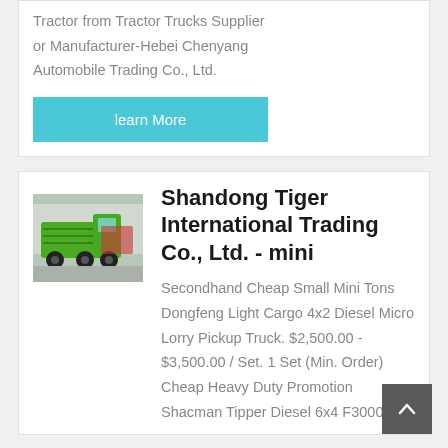Tractor from Tractor Trucks Supplier or Manufacturer-Hebei Chenyang Automobile Trading Co., Ltd.
learn More
[Figure (photo): Green dump truck / tipper truck parked in front of a building, viewed from front-left angle]
Shandong Tiger International Trading Co., Ltd. - mini
Secondhand Cheap Small Mini Tons Dongfeng Light Cargo 4x2 Diesel Micro Lorry Pickup Truck. $2,500.00 - $3,500.00 / Set. 1 Set (Min. Order) Cheap Heavy Duty Promotion Shacman Tipper Diesel 6x4 F3000